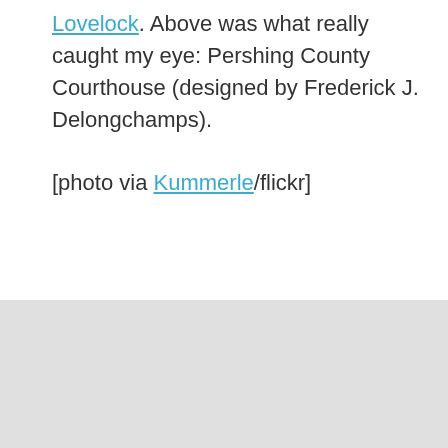Lovelock. Above was what really caught my eye: Pershing County Courthouse (designed by Frederick J. Delongchamps).

[photo via Kummerle/flickr]
[Figure (photo): Light grey placeholder area representing a photo of Pershing County Courthouse]